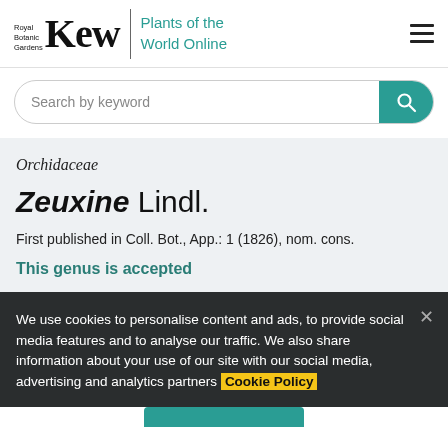Royal Botanic Gardens Kew — Plants of the World Online
Search by keyword
Orchidaceae
Zeuxine Lindl.
First published in Coll. Bot., App.: 1 (1826), nom. cons.
This genus is accepted
We use cookies to personalise content and ads, to provide social media features and to analyse our traffic. We also share information about your use of our site with our social media, advertising and analytics partners Cookie Policy